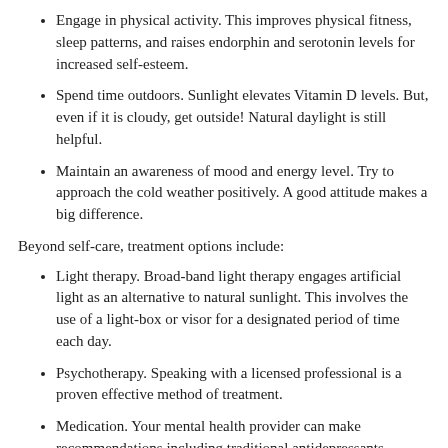Engage in physical activity. This improves physical fitness, sleep patterns, and raises endorphin and serotonin levels for increased self-esteem.
Spend time outdoors. Sunlight elevates Vitamin D levels. But, even if it is cloudy, get outside! Natural daylight is still helpful.
Maintain an awareness of mood and energy level. Try to approach the cold weather positively. A good attitude makes a big difference.
Beyond self-care, treatment options include:
Light therapy. Broad-band light therapy engages artificial light as an alternative to natural sunlight. This involves the use of a light-box or visor for a designated period of time each day.
Psychotherapy. Speaking with a licensed professional is a proven effective method of treatment.
Medication. Your mental health provider can make recommendations including traditional antidepressants